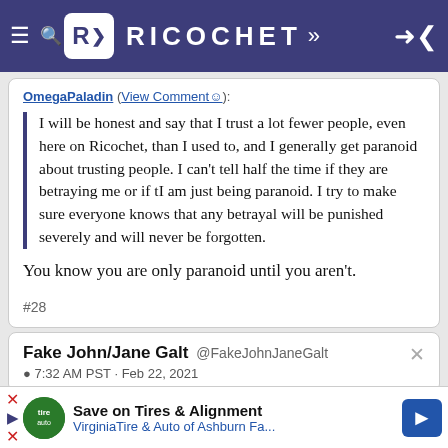Ricochet
OmegaPaladin (View Comment☺):
I will be honest and say that I trust a lot fewer people, even here on Ricochet, than I used to, and I generally get paranoid about trusting people. I can't tell half the time if they are betraying me or if tI am just being paranoid. I try to make sure everyone knows that any betrayal will be punished severely and will never be forgotten.
You know you are only paranoid until you aren't.
#28
Fake John/Jane Galt @FakeJohnJaneGalt
7:32 AM PST · Feb 22, 2021
Save on Tires & Alignment
VirginiaTire & Auto of Ashburn Fa...